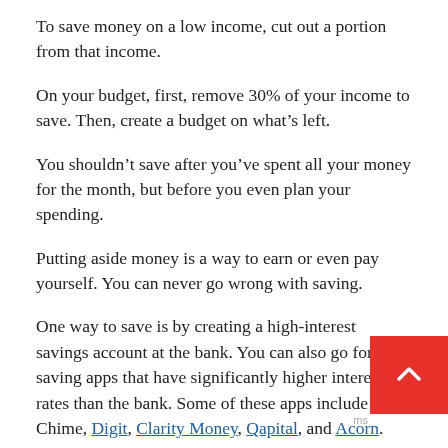To save money on a low income, cut out a portion from that income.
On your budget, first, remove 30% of your income to save. Then, create a budget on what’s left.
You shouldn’t save after you’ve spent all your money for the month, but before you even plan your spending.
Putting aside money is a way to earn or even pay yourself. You can never go wrong with saving.
One way to save is by creating a high-interest savings account at the bank. You can also go for saving apps that have significantly higher interest rates than the bank. Some of these apps include Chime, Digit, Clarity Money, Qapital, and Acorn.
To make it easier to save, you can automate your